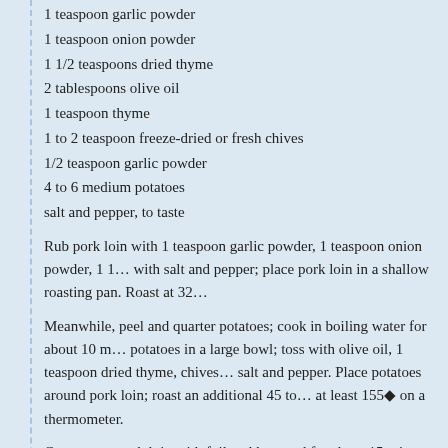1 teaspoon garlic powder
1 teaspoon onion powder
1 1/2 teaspoons dried thyme
2 tablespoons olive oil
1 teaspoon thyme
1 to 2 teaspoon freeze-dried or fresh chives
1/2 teaspoon garlic powder
4 to 6 medium potatoes
salt and pepper, to taste
Rub pork loin with 1 teaspoon garlic powder, 1 teaspoon onion powder, 1 1... with salt and pepper; place pork loin in a shallow roasting pan. Roast at 32...
Meanwhile, peel and quarter potatoes; cook in boiling water for about 10 m... potatoes in a large bowl; toss with olive oil, 1 teaspoon dried thyme, chives... salt and pepper. Place potatoes around pork loin; roast an additional 45 to... at least 155◆ on a thermometer.
Cover roast pork loin with foil and let stand for about 15 minutes before slic...
Serves 8 to 10.
posted by mich at 10:15 pm | return | dreams [0]
july 18, 2005